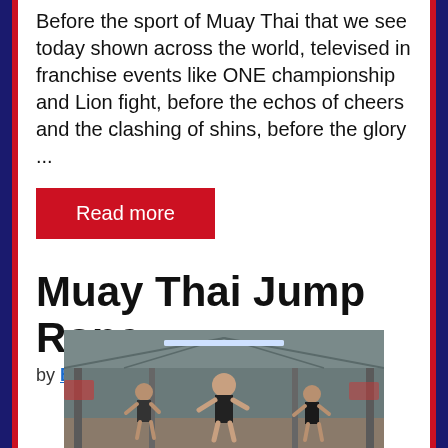Before the sport of Muay Thai that we see today shown across the world, televised in franchise events like ONE championship and Lion fight, before the echos of cheers and the clashing of shins, before the glory ...
Read more
Muay Thai Jump Rope
by Bobby Bradshaw
[Figure (photo): Photo of men training in a Muay Thai gym, with fighters jumping rope and sparring in a covered outdoor gym setting.]